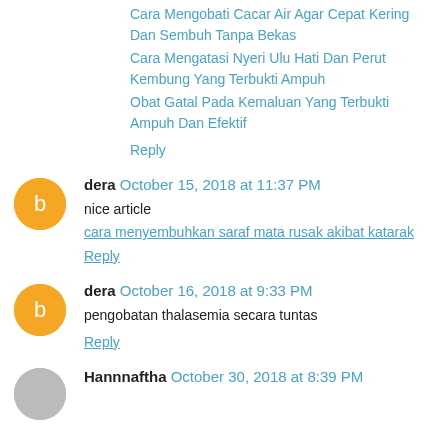Cara Mengobati Cacar Air Agar Cepat Kering Dan Sembuh Tanpa Bekas
Cara Mengatasi Nyeri Ulu Hati Dan Perut Kembung Yang Terbukti Ampuh
Obat Gatal Pada Kemaluan Yang Terbukti Ampuh Dan Efektif
Reply
dera  October 15, 2018 at 11:37 PM
nice article
cara menyembuhkan saraf mata rusak akibat katarak
Reply
dera  October 16, 2018 at 9:33 PM
pengobatan thalasemia secara tuntas
Reply
Hannnaftha  October 30, 2018 at 8:39 PM